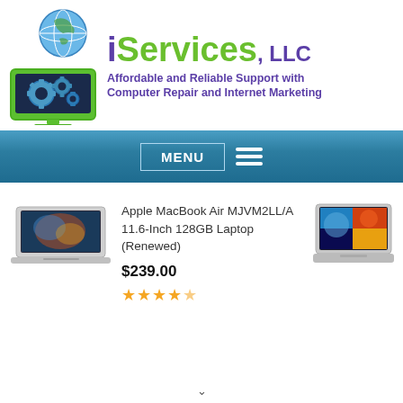[Figure (logo): iServices LLC logo with computer monitor icon showing gears and globe above, green monitor frame with purple brand text 'iServices, LLC' and tagline 'Affordable and Reliable Support with Computer Repair and Internet Marketing']
[Figure (screenshot): Navigation bar with MENU button and hamburger icon on blue gradient background]
[Figure (photo): Apple MacBook Air laptop photo on left side]
Apple MacBook Air MJVM2LL/A 11.6-Inch 128GB Laptop (Renewed)
$239.00
[Figure (photo): Laptop product photo on right side showing colorful screen]